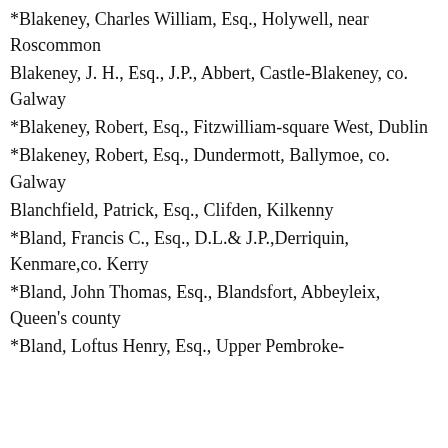*Blakeney, Charles William, Esq., Holywell, near Roscommon
Blakeney, J. H., Esq., J.P., Abbert, Castle-Blakeney, co. Galway
*Blakeney, Robert, Esq., Fitzwilliam-square West, Dublin
*Blakeney, Robert, Esq., Dundermott, Ballymoe, co. Galway
Blanchfield, Patrick, Esq., Clifden, Kilkenny
*Bland, Francis C., Esq., D.L.& J.P.,Derriquin, Kenmare,co. Kerry
*Bland, John Thomas, Esq., Blandsfort, Abbeyleix, Queen's county
*Bland, Loftus Henry, Esq., Upper Pembroke-